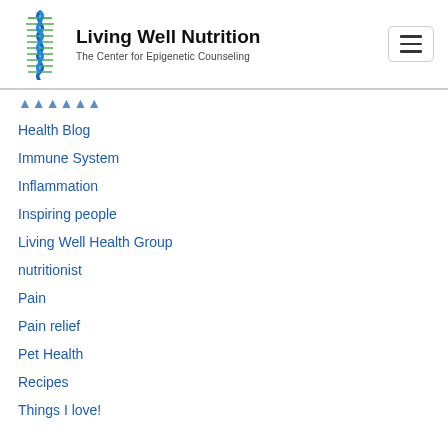[Figure (logo): Living Well Nutrition logo with DNA helix icon and text 'Living Well Nutrition – The Center for Epigenetic Counseling']
Health Blog
Immune System
Inflammation
Inspiring people
Living Well Health Group
nutritionist
Pain
Pain relief
Pet Health
Recipes
Things I love!